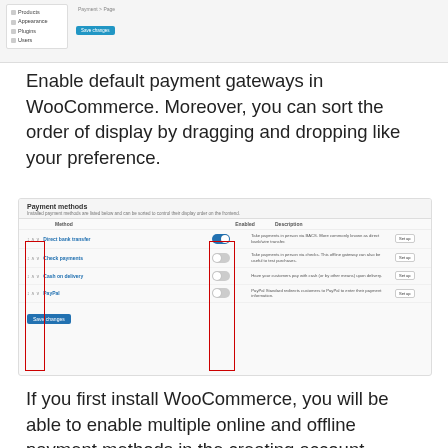[Figure (screenshot): Partial WooCommerce admin dashboard screenshot showing sidebar menu items (Products, Appearance, Plugins, Users) and a Save Changes button]
Enable default payment gateways in WooCommerce. Moreover, you can sort the order of display by dragging and dropping like your preference.
[Figure (screenshot): WooCommerce Payment methods settings page showing a table with Direct bank transfer (enabled toggle), Check payments (disabled), Cash on delivery (disabled), PayPal (disabled), with Set up buttons. Red outlines highlight the drag handles column and toggle switches column. A Save changes button appears at the bottom.]
If you first install WooCommerce, you will be able to enable multiple online and offline payment methods in the creating account process.